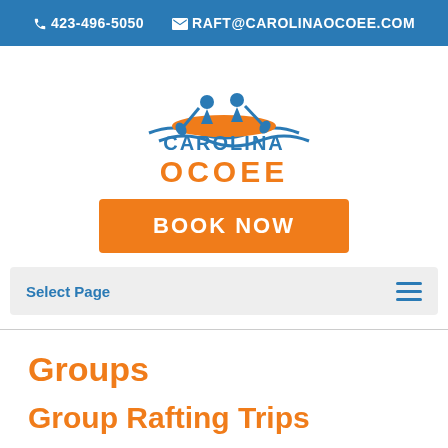423-496-5050  RAFT@CAROLINAOCOEE.COM
[Figure (logo): Carolina Ocoee rafting company logo with two people in a raft on water, blue text CAROLINA and orange text OCOEE]
BOOK NOW
Select Page
Groups
Group Rafting Trips